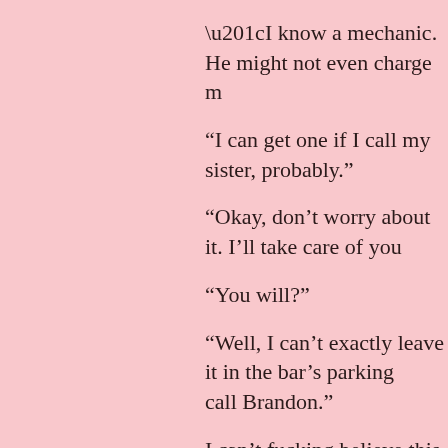“I know a mechanic. He might not even charge m
“I can get one if I call my sister, probably.”
“Okay, don’t worry about it. I’ll take care of you
“You will?”
“Well, I can’t exactly leave it in the bar’s parking call Brandon.”
I can’t fucking believe this, but I trust her.
“Okay,” I tell say. “I’m not planning on staying h
“No,” Mae says, nodding. “I completely agree.”
She pats down her rear end and swears. It’s a nic snuck tonight behind the bar since she has no pro cleavage while she digs around in her back pocke